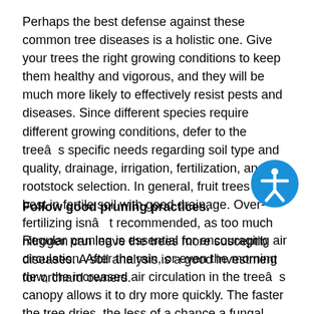Perhaps the best defense against these common tree diseases is a holistic one. Give your trees the right growing conditions to keep them healthy and vigorous, and they will be much more likely to effectively resist pests and diseases. Since different species require different growing conditions, defer to the treeâs specific needs regarding soil type and quality, drainage, irrigation, fertilization, and rootstock selection. In general, fruit trees do best in fertile soil with good drainage. Over-fertilizing isnât recommended, as too much nitrogen can leave the trees more susceptible to diseases. A soil analysis is a good investment for orchard owners.
Follow good pruning practices.
Regular pruning is essential for encouraging air circulation. After the rain, or even the morning dew, the increased air circulation in the treeâs canopy allows it to dry more quickly. The faster the tree dries, the less of a chance a fungal infection will affect it. If you lack experience with